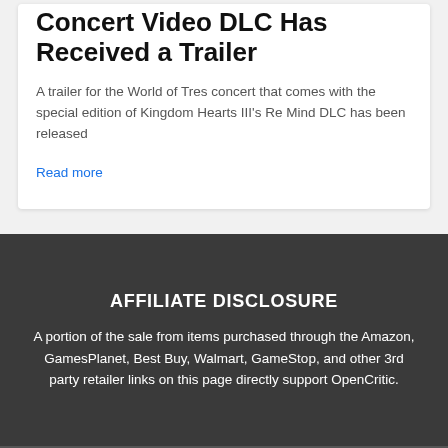Concert Video DLC Has Received a Trailer
A trailer for the World of Tres concert that comes with the special edition of Kingdom Hearts III's Re Mind DLC has been released
Read more
AFFILIATE DISCLOSURE
A portion of the sale from items purchased through the Amazon, GamesPlanet, Best Buy, Walmart, GameStop, and other 3rd party retailer links on this page directly support OpenCritic.